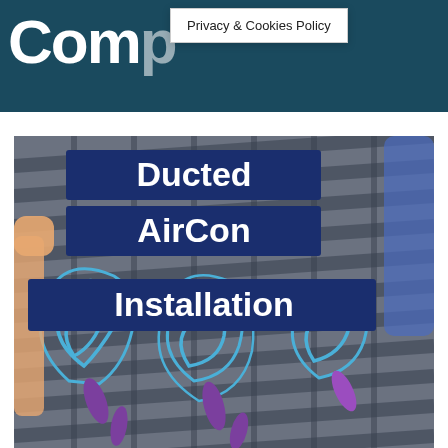Comr
Privacy & Cookies Policy
[Figure (illustration): Illustrated promotional image for Ducted AirCon Installation. Shows a stylized ceiling with air ducts, cartoon figures, and swirling air flow patterns in blue and purple. Bold white text on dark navy blue banners reads 'Ducted AirCon Installation'.]